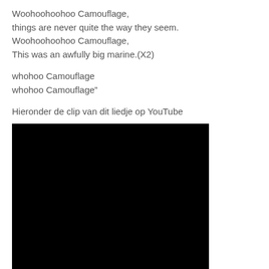Woohoohoohoo Camouflage,
things are never quite the way they seem.
Woohoohoohoo Camouflage,
This was an awfully big marine.(X2)
whohoo Camouflage
whohoo Camouflage"
Hieronder de clip van dit liedje op YouTube
[Figure (other): Black video embed placeholder for a YouTube clip]